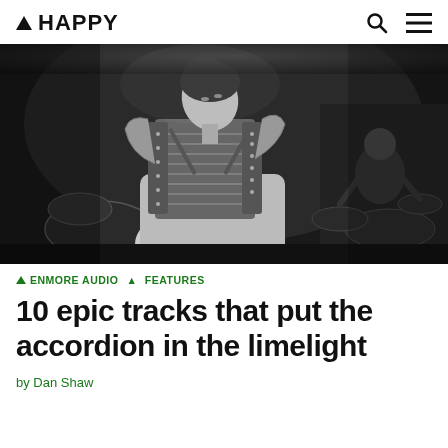▲ HAPPY
[Figure (photo): Black and white photograph of a musician playing an accordion on stage, looking upward, with a drummer visible in the background]
▲ ENMORE AUDIO  ▲ FEATURES
10 epic tracks that put the accordion in the limelight
by Dan Shaw